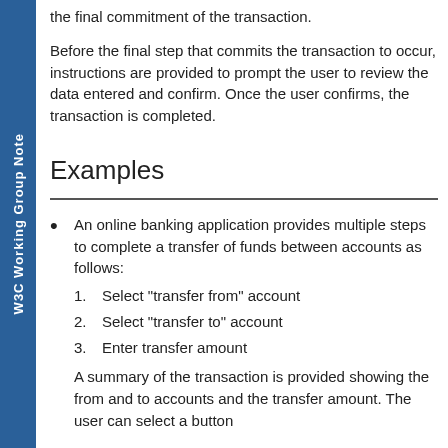W3C Working Group Note
the final commitment of the transaction.
Before the final step that commits the transaction to occur, instructions are provided to prompt the user to review the data entered and confirm. Once the user confirms, the transaction is completed.
Examples
An online banking application provides multiple steps to complete a transfer of funds between accounts as follows:
1. Select "transfer from" account
2. Select "transfer to" account
3. Enter transfer amount
A summary of the transaction is provided showing the from and to accounts and the transfer amount. The user can select a button